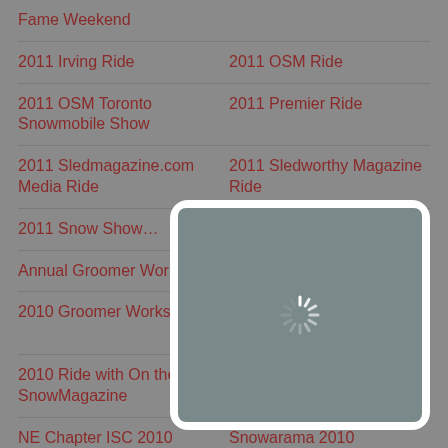Fame Weekend
2011 Irving Ride	2011 OSM Ride
2011 OSM Toronto Snowmobile Show	2011 Premier Ride
2011 Sledmagazine.com Media Ride	2011 Sledworthy Magazine Ride
2011 Snow Show…	[…] Ride
Annual Groomer Workshop	[…] Meetings
2010 Groomer Workshop	2010 Irving OilPresident's Ride
2010 Ride with On the SnowMagazine	NBFSC AGM - May 2010
NE Chapter ISC 2010	Snowarama 2010
Premier Alward Rides with	SNOWARAMA 2009
[Figure (screenshot): A loading spinner overlay on a video thumbnail showing a winter/snow scene. The overlay has a white rounded rectangle background with a spinning loading indicator in the center.]